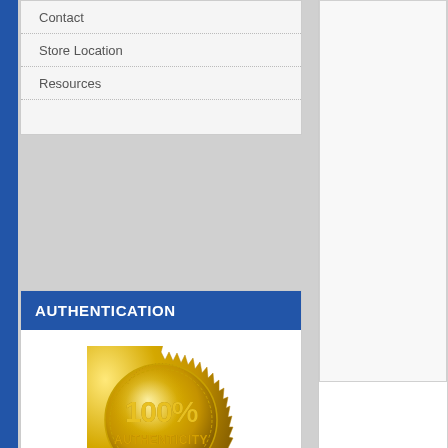Contact
Store Location
Resources
AUTHENTICATION
[Figure (illustration): Gold circular seal badge with text '100% AUTHENTICITY' in embossed gold lettering on a gold metallic background with jagged edges]
When it comes to sports and music collectibles the signature is everything. You have to be able to rely on the authenticity of your